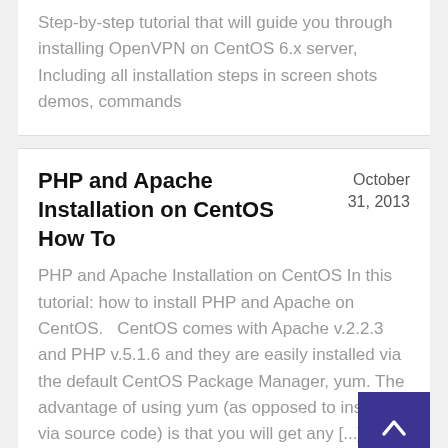Step-by-step tutorial that will guide you through installing OpenVPN on CentOS 6.x server, Including all installation steps in screen shots demos, commands
PHP and Apache Installation on CentOS How To
October 31, 2013
PHP and Apache Installation on CentOS In this tutorial: how to install PHP and Apache on CentOS.   CentOS comes with Apache v.2.2.3 and PHP v.5.1.6 and they are easily installed via the default CentOS Package Manager, yum. The advantage of using yum (as opposed to installing via source code) is that you will get any [...]